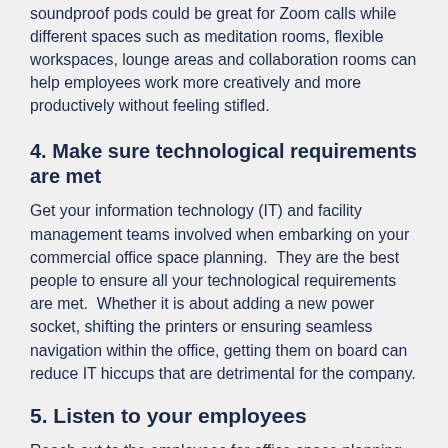soundproof pods could be great for Zoom calls while different spaces such as meditation rooms, flexible workspaces, lounge areas and collaboration rooms can help employees work more creatively and more productively without feeling stifled.
4. Make sure technological requirements are met
Get your information technology (IT) and facility management teams involved when embarking on your commercial office space planning.  They are the best people to ensure all your technological requirements are met.  Whether it is about adding a new power socket, shifting the printers or ensuring seamless navigation within the office, getting them on board can reduce IT hiccups that are detrimental for the company.
5. Listen to your employees
Reach out to the employees for office space planning ideas because they'll want a say in their workspaces too. While you have a lot to plan, make sure the office...